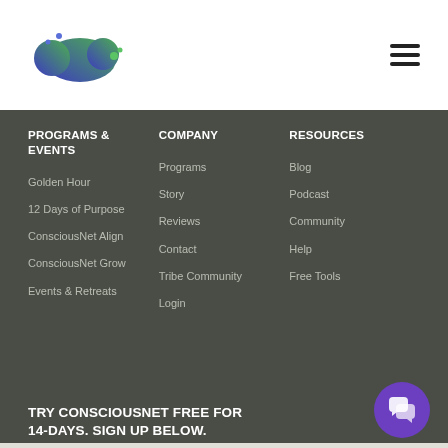[Figure (logo): ConsciousNet logo: blob shape gradient blue-to-green with small circles]
[Figure (illustration): Hamburger menu icon, three horizontal black lines]
PROGRAMS & EVENTS
Golden Hour
12 Days of Purpose
ConsciousNet Align
ConsciousNet Grow
Events & Retreats
COMPANY
Programs
Story
Reviews
Contact
Tribe Community
Login
RESOURCES
Blog
Podcast
Community
Help
Free Tools
TRY CONSCIOUSNET FREE FOR 14-DAYS. SIGN UP BELOW.